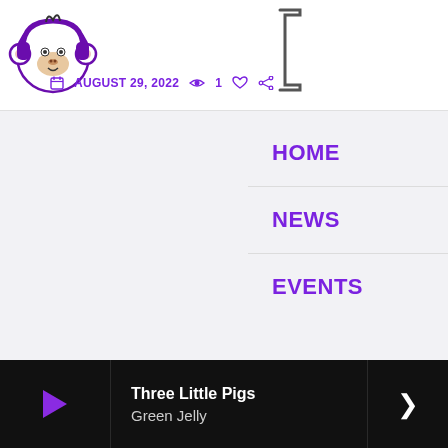[Figure (logo): Monkey with headphones logo in purple]
[Figure (other): Right bracket character in dark gray]
AUGUST 29, 2022  👁 1  ♡  ⋙
HOME
NEWS
EVENTS
Three Little Pigs
Green Jelly